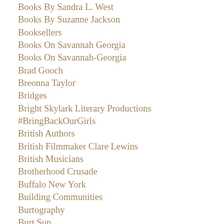Books By Sandra L. West
Books By Suzanne Jackson
Booksellers
Books On Savannah Georgia
Books On Savannah-Georgia
Brad Gooch
Breonna Taylor
Bridges
Bright Skylark Literary Productions
#BringBackOurGirls
British Authors
British Filmmaker Clare Lewins
British Musicians
Brotherhood Crusade
Buffalo New York
Building Communities
Burtography
Burt Sun
Buy Art By Aberjhani
C. A. Dawson Scott
California